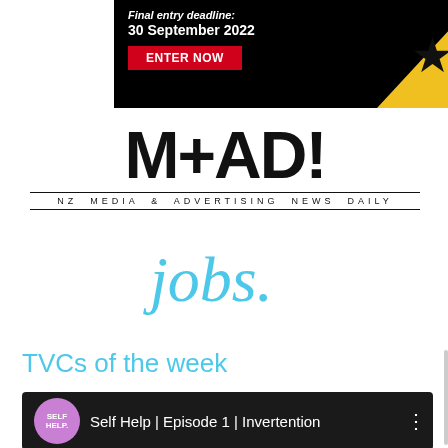[Figure (infographic): Black advertisement banner with text 'Final entry deadline: 30 September 2022', a red 'ENTER NOW' button, and a gold/yellow triangle with a black star on the right side.]
[Figure (logo): M+AD! logo — large bold black text 'M+AD!' with subtitle 'NZ MEDIA & ADVERTISING NEWS DAILY' in spaced caps, and 'jobs.' written in light blue cursive script below.]
TVCs of the week
[Figure (screenshot): Dark video thumbnail bar showing a pink 'SELF HELP.' circular icon, title 'Self Help | Episode 1 | Invertention', and three-dot menu icon on a dark background.]